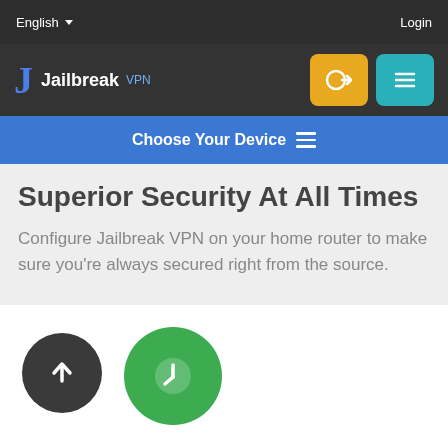English  Login
[Figure (logo): Jailbreak VPN logo with stylized J icon in blue, login button in yellow-orange, and hamburger menu button in teal]
Choose Your Device
Superior Security At All Times
Configure Jailbreak VPN on your home router to make sure you're always secured right from the source.
[Figure (illustration): Dark circular upload arrow icon and green circular clock icon]